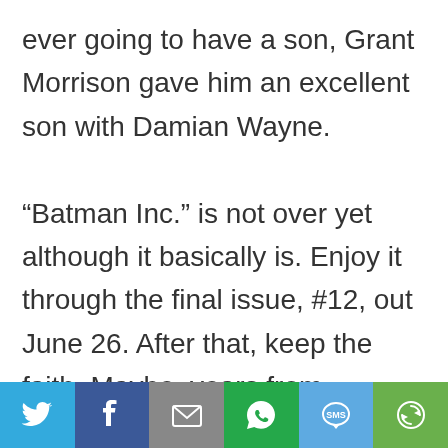ever going to have a son, Grant Morrison gave him an excellent son with Damian Wayne. “Batman Inc.” is not over yet although it basically is. Enjoy it through the final issue, #12, out June 26. After that, keep the faith. Maybe, years from
[Figure (infographic): Social share bar with six buttons: Twitter (blue bird icon), Facebook (dark blue f icon), Email (grey envelope icon), WhatsApp (green phone icon), SMS (light blue sms icon), More (green circular arrow icon)]